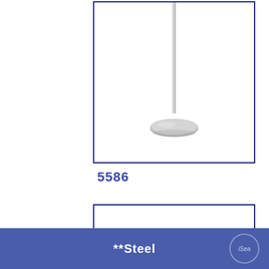[Figure (photo): A metal stand/pole with a round flat base, shown vertically against white background, inside a dark blue bordered box]
5586
[Figure (photo): A long flat horizontal metal bar/strip, shown at a slight angle against white background, inside a dark blue bordered box]
**Steel